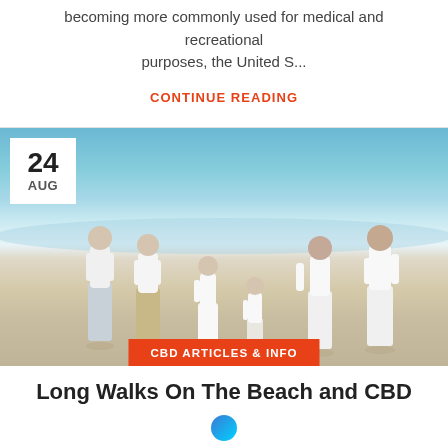becoming more commonly used for medical and recreational purposes, the United S...
CONTINUE READING
[Figure (photo): Family of six people in white clothing walking hand-in-hand along a sandy beach with ocean in background. Date badge showing '24 AUG' in top-left corner. Category badge 'CBD ARTICLES & INFO' overlaid at bottom center.]
Long Walks On The Beach and CBD